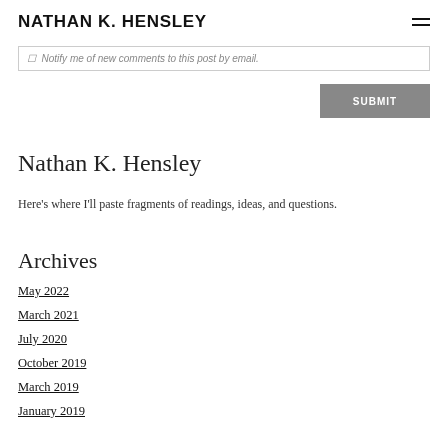NATHAN K. HENSLEY
Notify me of new comments to this post by email.
SUBMIT
Nathan K. Hensley
Here's where I'll paste fragments of readings, ideas, and questions.
Archives
May 2022
March 2021
July 2020
October 2019
March 2019
January 2019